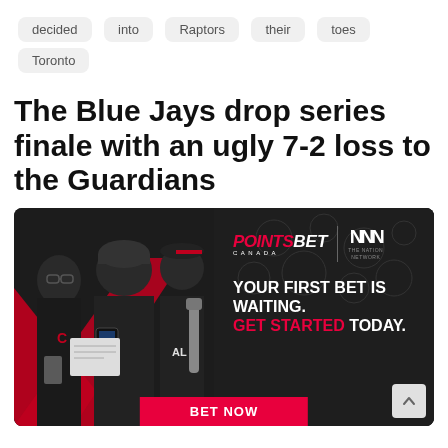decided
into
Raptors
their
toes
Toronto
The Blue Jays drop series finale with an ugly 7-2 loss to the Guardians
[Figure (photo): Advertisement banner for PointsBet Canada and The Nation Network. Dark background with red diagonal elements. Three men in casual/sports attire on the left side. Right side shows PointsBet Canada logo, Nation Network logo, text 'YOUR FIRST BET IS WAITING. GET STARTED TODAY.' and a red 'BET NOW' button at the bottom.]